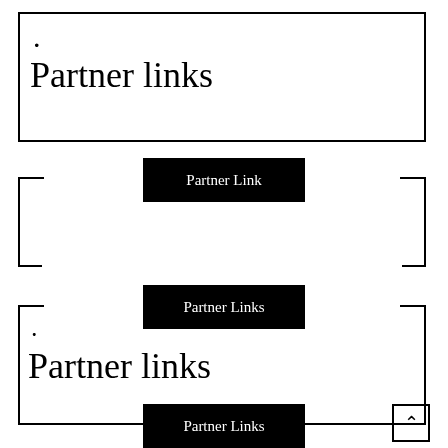Partner links
Partner Link
Partner Links
Partner links
Partner Links